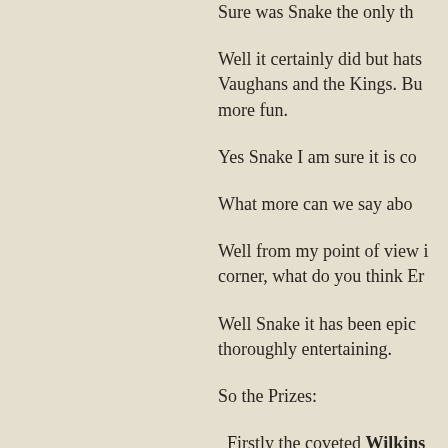Sure was Snake the only th
Well it certainly did but hats Vaughans and the Kings. Bu more fun.
Yes Snake I am sure it is co
What more can we say abo
Well from my point of view i corner, what do you think Er
Well Snake it has been epic thoroughly entertaining.
So the Prizes:
Firstly the coveted Wilkins